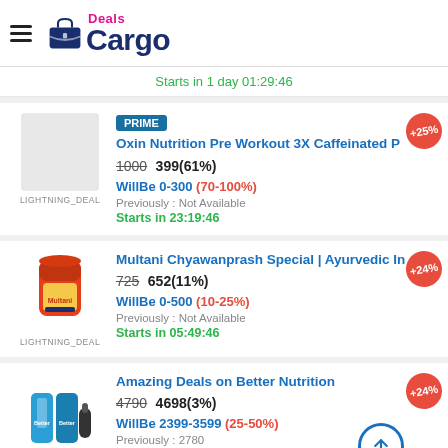DealsCargo
Starts in 1 day 01:29:46
PRIME
Oxin Nutrition Pre Workout 3X Caffeinated P... +25%
LIGHTNING_DEAL
1000  399(61%)
WillBe 0-300 (70-100%)
Previously : Not Available
Starts in 23:19:46
[Figure (photo): Product image of Multani Chyawanprash Special jar]
Multani Chyawanprash Special | Ayurvedic In... +24%
LIGHTNING_DEAL
725  652(11%)
WillBe 0-500 (10-25%)
Previously : Not Available
Starts in 05:49:46
[Figure (photo): Product image of Better Nutrition supplement tubes]
Amazing Deals on Better Nutrition +24%
LIGHTNING_DEAL
4790  4698(3%)
WillBe 2399-3599 (25-50%)
Previously : 2780